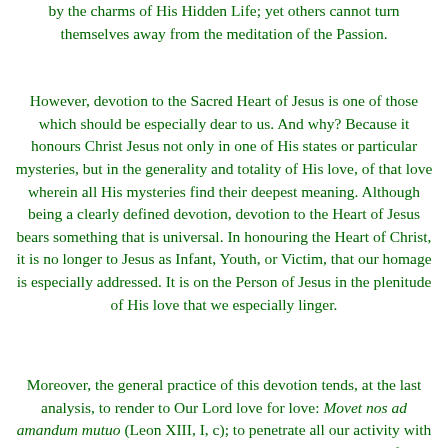by the charms of His Hidden Life; yet others cannot turn themselves away from the meditation of the Passion.
However, devotion to the Sacred Heart of Jesus is one of those which should be especially dear to us. And why? Because it honours Christ Jesus not only in one of His states or particular mysteries, but in the generality and totality of His love, of that love wherein all His mysteries find their deepest meaning. Although being a clearly defined devotion, devotion to the Heart of Jesus bears something that is universal. In honouring the Heart of Christ, it is no longer to Jesus as Infant, Youth, or Victim, that our homage is especially addressed. It is on the Person of Jesus in the plenitude of His love that we especially linger.
Moreover, the general practice of this devotion tends, at the last analysis, to render to Our Lord love for love: Movet nos ad amandum mutuo (Leon XIII, I, c); to penetrate all our activity with love in order to please Christ Jesus. The special exercises of the devotion t...